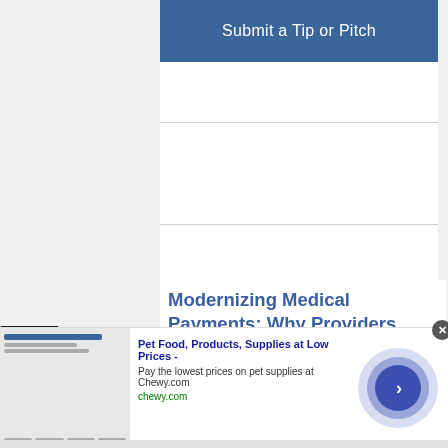[Figure (screenshot): Blue button labeled 'Submit a Tip or Pitch' on a website interface]
Modernizing Medical Payments: Why Providers Must Enrich the Patient Financial Experience
[Figure (screenshot): Infolinks advertisement overlay for Chewy.com pet food products with a circular navigation button]